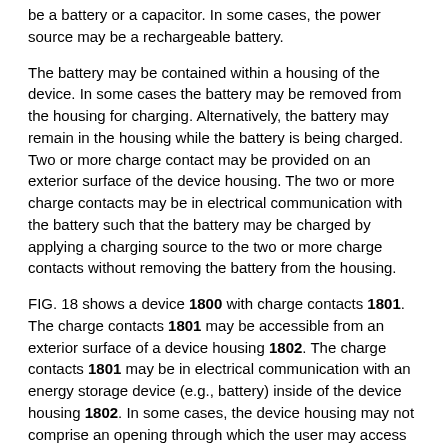be a battery or a capacitor. In some cases, the power source may be a rechargeable battery.
The battery may be contained within a housing of the device. In some cases the battery may be removed from the housing for charging. Alternatively, the battery may remain in the housing while the battery is being charged. Two or more charge contact may be provided on an exterior surface of the device housing. The two or more charge contacts may be in electrical communication with the battery such that the battery may be charged by applying a charging source to the two or more charge contacts without removing the battery from the housing.
FIG. 18 shows a device 1800 with charge contacts 1801. The charge contacts 1801 may be accessible from an exterior surface of a device housing 1802. The charge contacts 1801 may be in electrical communication with an energy storage device (e.g., battery) inside of the device housing 1802. In some cases, the device housing may not comprise an opening through which the user may access components in the device housing. The user may not be able to remove the battery and/or other energy storage